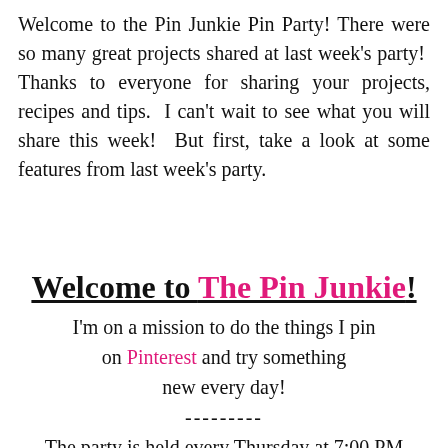Welcome to the Pin Junkie Pin Party! There were so many great projects shared at last week's party!  Thanks to everyone for sharing your projects, recipes and tips.  I can't wait to see what you will share this week!  But first, take a look at some features from last week's party.
Welcome to The Pin Junkie!
I'm on a mission to do the things I pin on Pinterest and try something new every day!
---------
The party is held every Thursday at 7:00 PM MST.